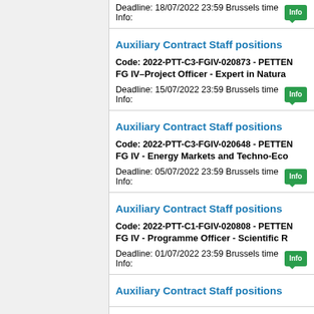Deadline: 18/07/2022 23:59 Brussels time  Info:
Auxiliary Contract Staff positions
Code: 2022-PTT-C3-FGIV-020873 - PETTEN
FG IV–Project Officer - Expert in Natura
Deadline: 15/07/2022 23:59 Brussels time  Info:
Auxiliary Contract Staff positions
Code: 2022-PTT-C3-FGIV-020648 - PETTEN
FG IV - Energy Markets and Techno-Eco
Deadline: 05/07/2022 23:59 Brussels time  Info:
Auxiliary Contract Staff positions
Code: 2022-PTT-C1-FGIV-020808 - PETTEN
FG IV - Programme Officer - Scientific R
Deadline: 01/07/2022 23:59 Brussels time  Info:
Auxiliary Contract Staff positions